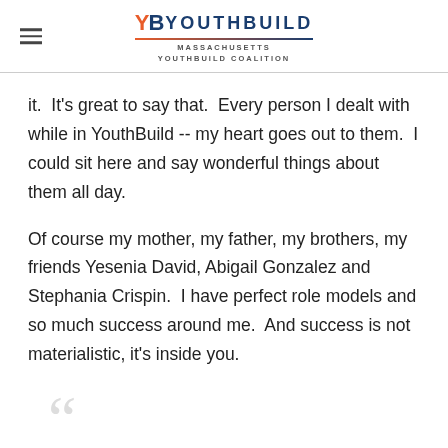YB YOUTHBUILD MASSACHUSETTS YOUTHBUILD COALITION
it.  It's great to say that.  Every person I dealt with while in YouthBuild -- my heart goes out to them.  I could sit here and say wonderful things about them all day.
Of course my mother, my father, my brothers, my friends Yesenia David, Abigail Gonzalez and Stephania Crispin.  I have perfect role models and so much success around me.  And success is not materialistic, it's inside you.
[Figure (illustration): Large decorative opening quotation mark in light gray]